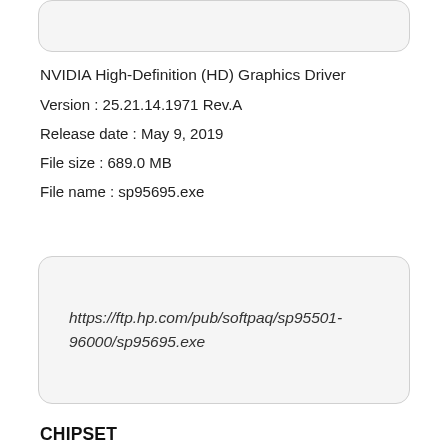[Figure (other): Rounded rectangle box at top of page, partially visible]
NVIDIA High-Definition (HD) Graphics Driver
Version : 25.21.14.1971 Rev.A
Release date : May 9, 2019
File size : 689.0 MB
File name : sp95695.exe
[Figure (other): Rounded rectangle box containing URL: https://ftp.hp.com/pub/softpaq/sp95501-96000/sp95695.exe]
CHIPSET
Intel Chipset Installation Utility and Driver
Version : 10.1.17903.8106 Rev.A
Release date : May 9, 2019
File size : 4.2 MB